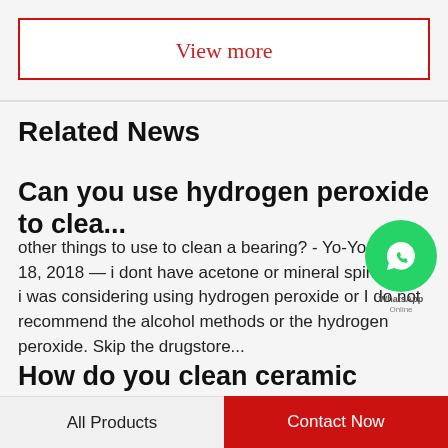View more
Related News
Can you use hydrogen peroxide to clea...
other things to use to clean a bearing? - Yo-Yos andJul 18, 2018 — i dont have acetone or mineral spirits, and i was considering using hydrogen peroxide or I do not recommend the alcohol methods or the hydrogen peroxide. Skip the drugstore...
How do you clean ceramic bearings?
How To Clean Ceramic Bearings And Lubricate (Easy...
All Products    Contact Now